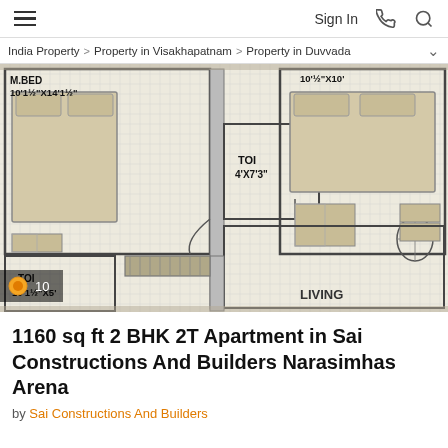Sign In
India Property > Property in Visakhapatnam > Property in Duvvada
[Figure (schematic): Apartment floor plan showing M.BED 10'1½"X14'1½", TOI 4'X7'3", TOI 10'1½"X5', and LIVING room areas with furniture layout]
10
1160 sq ft 2 BHK 2T Apartment in Sai Constructions And Builders Narasimhas Arena
by Sai Constructions And Builders